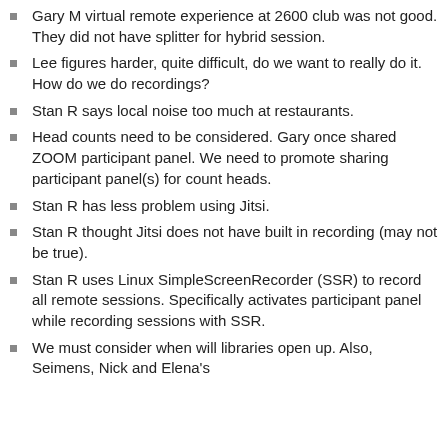Gary M virtual remote experience at 2600 club was not good. They did not have splitter for hybrid session.
Lee figures harder, quite difficult, do we want to really do it. How do we do recordings?
Stan R says local noise too much at restaurants.
Head counts need to be considered. Gary once shared ZOOM participant panel. We need to promote sharing participant panel(s) for count heads.
Stan R has less problem using Jitsi.
Stan R thought Jitsi does not have built in recording (may not be true).
Stan R uses Linux SimpleScreenRecorder (SSR) to record all remote sessions. Specifically activates participant panel while recording sessions with SSR.
We must consider when will libraries open up. Also, Seimens, Nick and Elena's